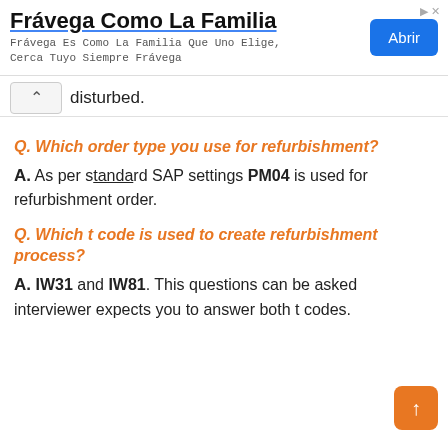[Figure (other): Advertisement banner for Frávega Como La Familia with a blue Abrir button]
disturbed.
Q. Which order type you use for refurbishment?
A. As per standard SAP settings PM04 is used for refurbishment order.
Q. Which t code is used to create refurbishment process?
A. IW31 and IW81. This questions can be asked interviewer expects you to answer both t codes.